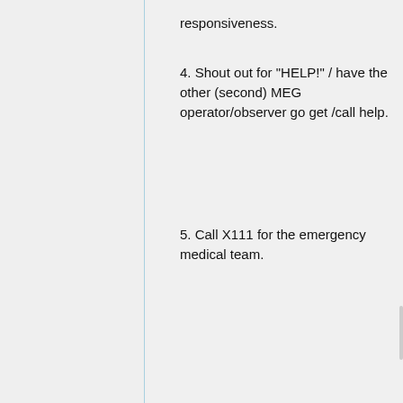3. Check for victim's responsiveness.
4. Shout out for "HELP!" / have the other (second) MEG operator/observer go get /call help.
5. Call X111 for the emergency medical team.